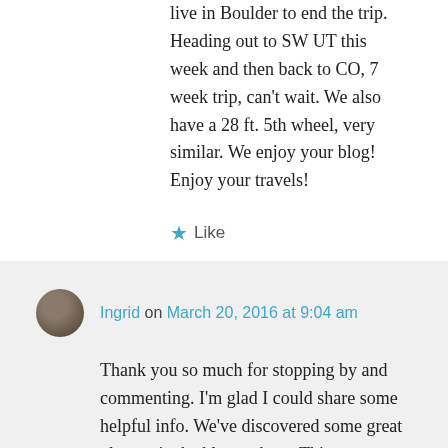live in Boulder to end the trip. Heading out to SW UT this week and then back to CO, 7 week trip, can't wait. We also have a 28 ft. 5th wheel, very similar. We enjoy your blog! Enjoy your travels!
★ Like
Ingrid on March 20, 2016 at 9:04 am
Thank you so much for stopping by and commenting. I'm glad I could share some helpful info. We've discovered some great places via the blogosphere. This summer will find us exploring some new territory which is always fun. Please feel free to share any fabulous places you discover